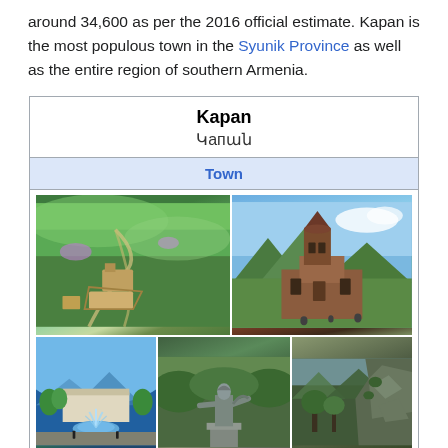around 34,600 as per the 2016 official estimate. Kapan is the most populous town in the Syunik Province as well as the entire region of southern Armenia.
| Kapan / Կапан |
| --- |
| Town |
| [photo collage] |
[Figure (photo): Collage of 5 photos of Kapan, Armenia: aerial view of monastery on hillside, Armenian church with mountain backdrop, fountain plaza, warrior statue, rocky cliff landscape]